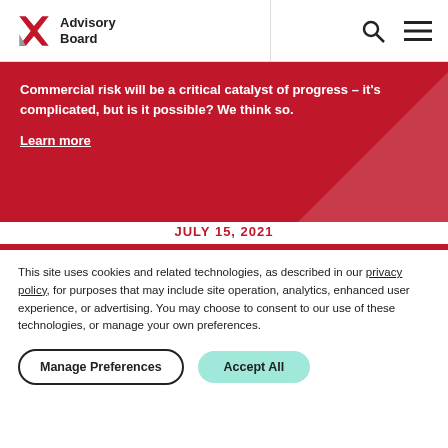Advisory Board
Commercial risk will be a critical catalyst of progress – it's complicated, but is it possible? We think so. Learn more
JULY 15, 2021
He thought he had the flu. Then, his urine turned black of
This site uses cookies and related technologies, as described in our privacy policy, for purposes that may include site operation, analytics, enhanced user experience, or advertising. You may choose to consent to our use of these technologies, or manage your own preferences.
Manage Preferences  Accept All